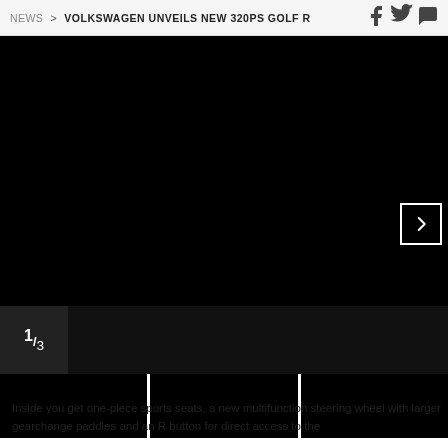NEWS > VOLKSWAGEN UNVEILS NEW 320PS GOLF R
[Figure (photo): Large black main image area showing Volkswagen Golf R, with a next-arrow navigation button overlay at right]
1/3
[Figure (photo): Three thumbnail images of the Volkswagen Golf R in a horizontal strip]
Inside you get one-piece sports seats, a new multifunction steering wheel with larger gearchange paddles and an R button for direct access to the